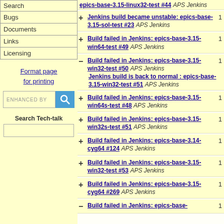Search
Bugs
Documents
Links
Licensing
Format page for printing
ENHANCED BY [search box]
Search Tech-talk
epics-base-3.15-linux32-test #44 APS Jenkins
+ Jenkins build became unstable: epics-base-3.15-sol-test #23 APS Jenkins 1
+ Build failed in Jenkins: epics-base-3.15-win64-test #49 APS Jenkins 1
- Build failed in Jenkins: epics-base-3.15-win32-test #50 APS Jenkins 1 Jenkins build is back to normal : epics-base-3.15-win32-test #51 APS Jenkins
+ Build failed in Jenkins: epics-base-3.15-win64s-test #48 APS Jenkins 1
+ Build failed in Jenkins: epics-base-3.15-win32s-test #51 APS Jenkins 1
+ Build failed in Jenkins: epics-base-3.14-cyg64 #124 APS Jenkins 1
+ Build failed in Jenkins: epics-base-3.15-win32-test #53 APS Jenkins 1
+ Build failed in Jenkins: epics-base-3.15-cyg64 #269 APS Jenkins 1
- Build failed in Jenkins: epics-base- ... APS Jenkins 1